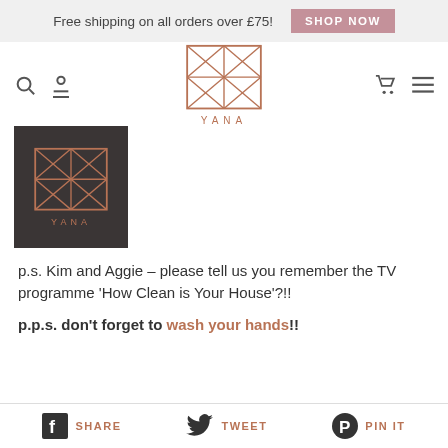Free shipping on all orders over £75! SHOP NOW
[Figure (logo): YANA geometric logo in copper/rose gold on white background, navigation bar with search, user, cart, and menu icons]
[Figure (logo): YANA geometric logo on dark background thumbnail image]
p.s. Kim and Aggie – please tell us you remember the TV programme 'How Clean is Your House'?!!
p.p.s. don't forget to wash your hands!!
SHARE  TWEET  PIN IT